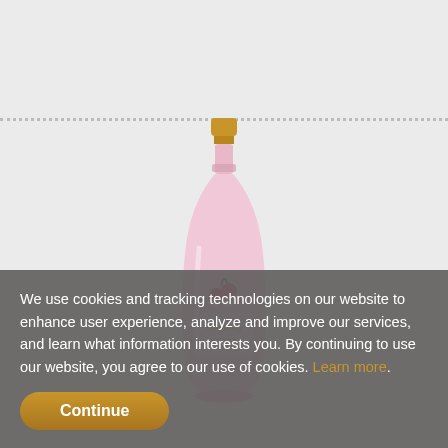[Figure (photo): A pink bottle with gold foil top, featuring a label with cherries/raspberry decoration, resembling a sparkling wine or liqueur bottle. The bottle is tall and slender with a rounded body. Brand text appears on the label in gold lettering.]
We use cookies and tracking technologies on our website to enhance user experience, analyze and improve our services, and learn what information interests you. By continuing to use our website, you agree to our use of cookies. Learn more.
Continue